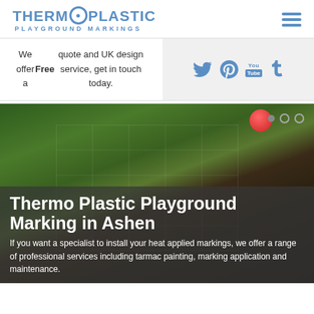[Figure (logo): Thermo Plastic Playground Markings logo with circular O emblem in blue]
[Figure (infographic): Hamburger menu icon (three horizontal lines) in blue]
We offer a Free quote and UK design service, get in touch today.
[Figure (infographic): Social media icons: Twitter, Pinterest, YouTube, Tumblr in blue on grey background]
[Figure (photo): Playground with thermoplastic markings including snakes and ladders game on dark tarmac with green border]
Thermo Plastic Playground Marking in Ashen
If you want a specialist to install your heat applied markings, we offer a range of professional services including tarmac painting, marking application and maintenance.